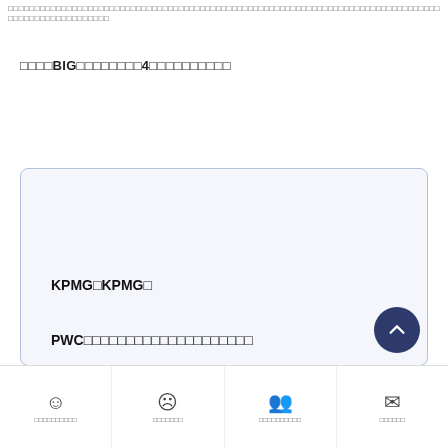□□□□□□□□□□□□□□□□□□□□□□□□□□□□□□□□□□□□□□□□□□□□□□□□□□□□□□□□□□□□□□□□□□□□□□□□□□□□□□□□□□□□□□□□□□□□□□□□□□
□□□□BIG□□□□□□□□4□□□□□□□□□□
KPMG□KPMG□
PWC□□□□□□□□□□□□□□□□□□□□
EY□□□□□□□□□□ □□□□
□□□□□□□□□□ □□□□□□□□ □□□□□□□□□□□□□□□□ □□□□□□